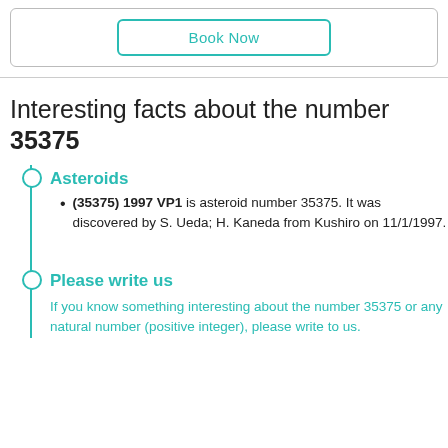[Figure (other): Book Now button inside a rounded rectangle border]
Interesting facts about the number 35375
Asteroids
(35375) 1997 VP1 is asteroid number 35375. It was discovered by S. Ueda; H. Kaneda from Kushiro on 11/1/1997.
Please write us
If you know something interesting about the number 35375 or any natural number (positive integer), please write to us.